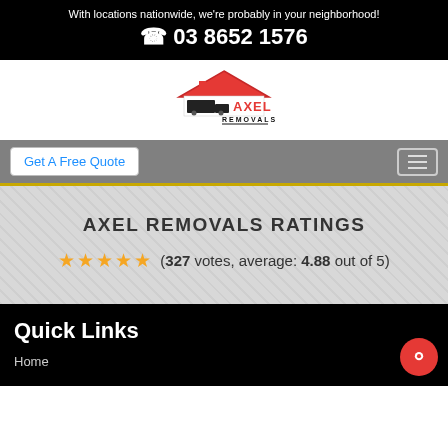With locations nationwide, we're probably in your neighborhood!
☎ 03 8652 1576
[Figure (logo): Axel Removals logo — red roof/house outline above a black delivery truck, text AXEL in red and REMOVALS in black below]
Get A Free Quote
AXEL REMOVALS RATINGS
★★★★★ (327 votes, average: 4.88 out of 5)
Quick Links
Home